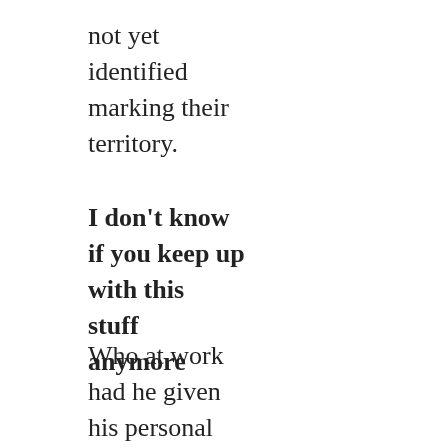not yet identified marking their territory.
I don't know if you keep up with this stuff anymore
Who at work had he given his personal number to? A